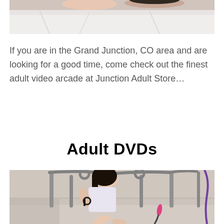[Figure (photo): Partial photo of a person on white bedding, cropped at top of page]
If you are in the Grand Junction, CO area and are looking for a good time, come check out the finest adult video arcade at Junction Adult Store…
Adult DVDs
[Figure (photo): Photo of a woman in lingerie sitting on a bed with metal headboard, with adult accessories visible]